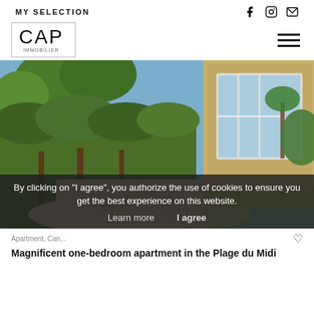MY SELECTION
[Figure (logo): CAP logo in a rectangular border]
[Figure (photo): Outdoor pathway of a Mediterranean property with lush green trees, stone walls, and glass-windowed building facade]
By clicking on "I agree", you authorize the use of cookies to ensure you get the best experience on this website.
Learn more    I agree
Apartment, Can...
Magnificent one-bedroom apartment in the Plage du Midi